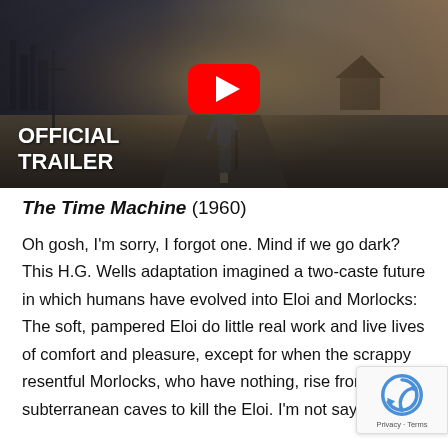[Figure (screenshot): YouTube video thumbnail for an official trailer. Shows a figure walking down a road with post-apocalyptic scenery. A large red YouTube play button is centered. Text in the lower left reads 'OFFICIAL TRAILER' in bold white.]
The Time Machine (1960)
Oh gosh, I'm sorry, I forgot one. Mind if we go dark? This H.G. Wells adaptation imagined a two-caste future in which humans have evolved into Eloi and Morlocks: The soft, pampered Eloi do little real work and live lives of comfort and pleasure, except for when the scrappy resentful Morlocks, who have nothing, rise from the subterranean caves to kill the Eloi. I'm not saying we're